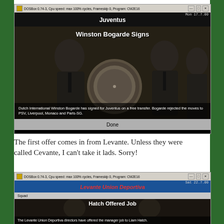[Figure (screenshot): DOSBox screenshot showing a DOS game (CM2E16) with a Juventus news screen: 'Winston Bogarde Signs' headline, photo of men holding a plate/award, news text about Dutch International Winston Bogarde signing for Juventus on a free transfer, rejecting moves to PSV, Liverpool, Monaco and Paris-SG. Done button at bottom.]
The first offer comes in from Levante. Unless they were called Cevante, I can't take it lads. Sorry!
[Figure (screenshot): DOSBox screenshot showing a DOS game (CM2E16) with Levante Union Deportiva club screen. Shows 'Hatch Offered Job' news: 'The Levante Union Deportiva directors have offered the manager job to Liam Hatch.' Partially visible at bottom of page.]